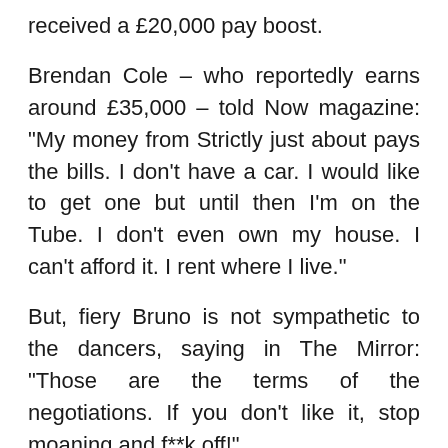received a £20,000 pay boost.
Brendan Cole – who reportedly earns around £35,000 – told Now magazine: "My money from Strictly just about pays the bills. I don't have a car. I would like to get one but until then I'm on the Tube. I don't even own my house. I can't afford it. I rent where I live."
But, fiery Bruno is not sympathetic to the dancers, saying in The Mirror: "Those are the terms of the negotiations. If you don't like it, stop moaning and f**k off!"